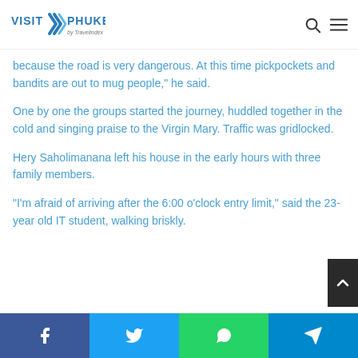VISIT PHUKET by Travelindex
because the road is very dangerous. At this time pickpockets and bandits are out to mug people," he said.
One by one the groups started the journey, huddled together in the cold and singing praise to the Virgin Mary. Traffic was gridlocked.
Hery Saholimanana left his house in the early hours with three family members.
"I'm afraid of arriving after the 6:00 o'clock entry limit," said the 23-year old IT student, walking briskly.
Facebook | Twitter | WhatsApp | Telegram